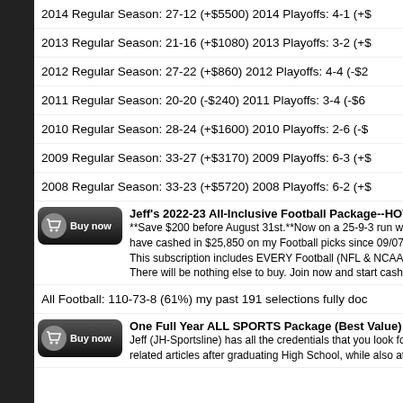2014 Regular Season: 27-12 (+$5500) 2014 Playoffs: 4-1 (+$...
2013 Regular Season: 21-16 (+$1080) 2013 Playoffs: 3-2 (+$...
2012 Regular Season: 27-22 (+$860) 2012 Playoffs: 4-4 (-$2...
2011 Regular Season: 20-20 (-$240) 2011 Playoffs: 3-4 (-$6...
2010 Regular Season: 28-24 (+$1600) 2010 Playoffs: 2-6 (-$...
2009 Regular Season: 33-27 (+$3170) 2009 Playoffs: 6-3 (+$...
2008 Regular Season: 33-23 (+$5720) 2008 Playoffs: 6-2 (+$...
Jeff's 2022-23 All-Inclusive Football Package--HOT
**Save $200 before August 31st.**Now on a 25-9-3 run with have cashed in $25,850 on my Football picks since 09/07/19 This subscription includes EVERY Football (NFL & NCAAF) s There will be nothing else to buy. Join now and start cashing
All Football: 110-73-8 (61%) my past 191 selections fully doc...
One Full Year ALL SPORTS Package (Best Value)
Jeff (JH-Sportsline) has all the credentials that you look for in related articles after graduating High School, while also attem...